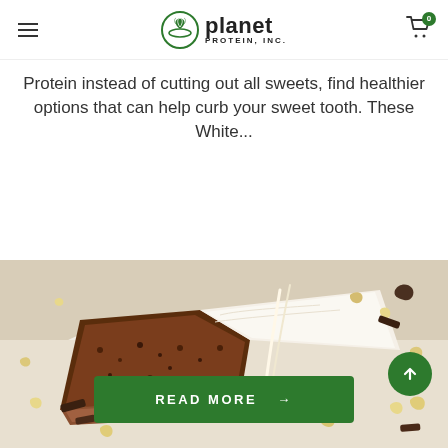Planet Protein, Inc. — navigation header with logo and cart
Protein instead of cutting out all sweets, find healthier options that can help curb your sweet tooth. These White...
READ MORE →
[Figure (photo): Close-up photo of a slice of layered chocolate and cream dessert/cake with toppings scattered around on a white plate]